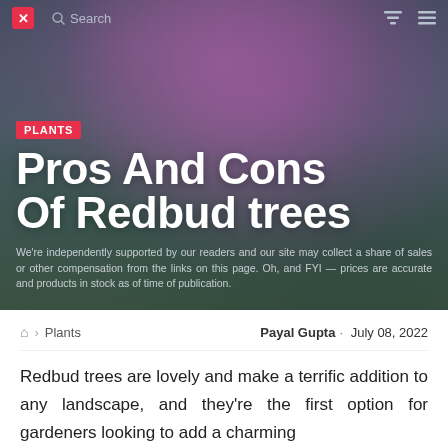[Figure (photo): Hero image of a redbud tree with pink/purple blossoms against a blue-grey sky, used as the article header background]
× Search [filter icon] [menu icon]
PLANTS
Pros And Cons Of Redbud trees
We're independently supported by our readers and our site may collect a share of sales or other compensation from the links on this page. Oh, and FYI — prices are accurate and products in stock as of time of publication.
🏠 › Plants   Payal Gupta · July 08, 2022
Redbud trees are lovely and make a terrific addition to any landscape, and they're the first option for gardeners looking to add a charming